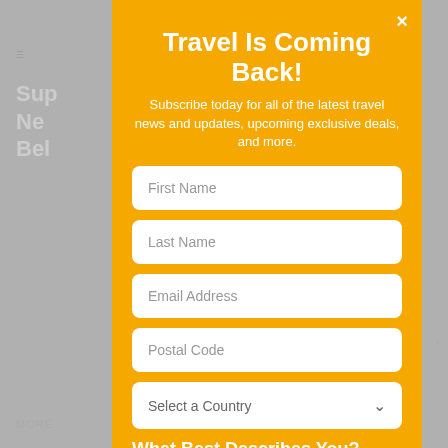[Figure (screenshot): Background website page showing gray text and images, partially obscured by overlay modal]
Travel Is Coming Back!
Subscribe today for all of the latest travel news and updates, upcoming exclusive deals, and more.
First Name
Last Name
Email Address
Postal Code
Select a Country
What Best Describes You?
Travel Agent
Travel Supplier
Traveler